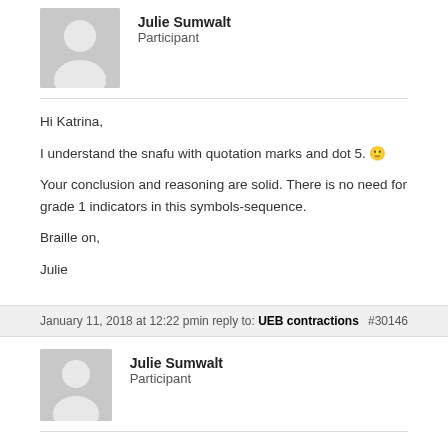[Figure (illustration): Grey placeholder avatar icon for user Julie Sumwalt]
Julie Sumwalt
Participant
Hi Katrina,

I understand the snafu with quotation marks and dot 5. 🙂

Your conclusion and reasoning are solid. There is no need for grade 1 indicators in this symbols-sequence.

Braille on,

Julie
January 11, 2018 at 12:22 pmin reply to: UEB contractions #30146
[Figure (illustration): Grey placeholder avatar icon for user Julie Sumwalt]
Julie Sumwalt
Participant
Hi Lynnette,

The 10.9.2 rule is actually two-fold, that the longer word with "good"